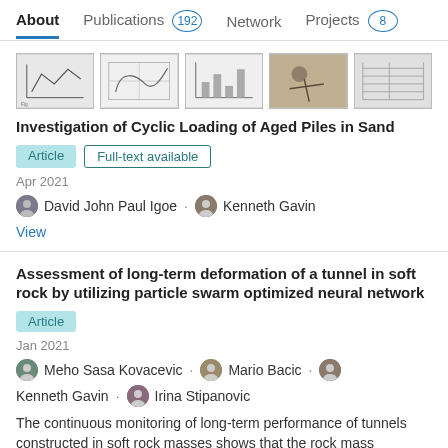About | Publications 192 | Network | Projects 8
[Figure (screenshot): Thumbnail images of engineering/geotechnical figures and diagrams]
Investigation of Cyclic Loading of Aged Piles in Sand
Article | Full-text available
Apr 2021
David John Paul Igoe · Kenneth Gavin
View
Assessment of long-term deformation of a tunnel in soft rock by utilizing particle swarm optimized neural network
Article
Jan 2021
Meho Sasa Kovacevic · Mario Bacic · Kenneth Gavin · Irina Stipanovic
The continuous monitoring of long-term performance of tunnels constructed in soft rock masses shows that the rock mass deformation continues for an exceptionally long time, not the